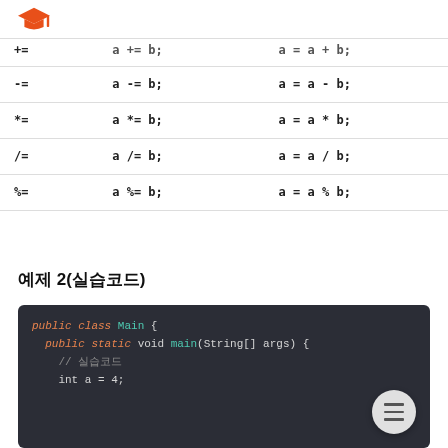[graduation cap logo]
| Operator | Example | Equivalent |
| --- | --- | --- |
| -= | a -= b; | a = a - b; |
| *= | a *= b; | a = a * b; |
| /= | a /= b; | a = a / b; |
| %= | a %= b; | a = a % b; |
예제 2(실습코드)
[Figure (screenshot): Java code block showing: public class Main { public static void main(String[] args) { // 실습코드 int a = 4;]